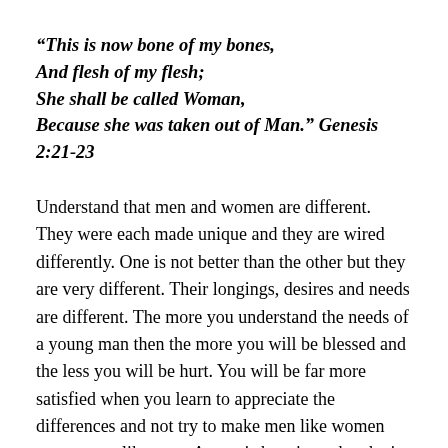“This is now bone of my bones, And flesh of my flesh; She shall be called Woman, Because she was taken out of Man.” Genesis 2:21-23
Understand that men and women are different. They were each made unique and they are wired differently. One is not better than the other but they are very different. Their longings, desires and needs are different. The more you understand the needs of a young man then the more you will be blessed and the less you will be hurt. You will be far more satisfied when you learn to appreciate the differences and not try to make men like women nor women like men. A man is happiest when he is fulfilling his calling as a man and a woman is happiest when she is fulfilling her calling as a